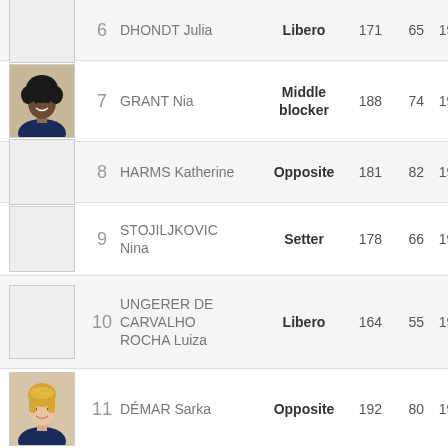| Photo | # | Name | Position | Height | Weight | Born |
| --- | --- | --- | --- | --- | --- | --- |
| [photo] | 6 | DHONDT Julia | Libero | 171 | 65 | 199… |
| [photo] | 7 | GRANT Nia | Middle blocker | 188 | 74 | 199… |
| [photo] | 8 | HARMS Katherine | Opposite | 181 | 82 | 199… |
| [photo] | 9 | STOJILJKOVIC Nina | Setter | 178 | 66 | 199… |
| [photo] | 10 | UNGERER DE CARVALHO ROCHA Luiza | Libero | 164 | 55 | 198… |
| [photo] | 11 | DÉMAR Sarka | Opposite | 192 | 80 | 198… |
| [photo] | 12 | DRUENNE | Outside | 180 | 80 | 199… |